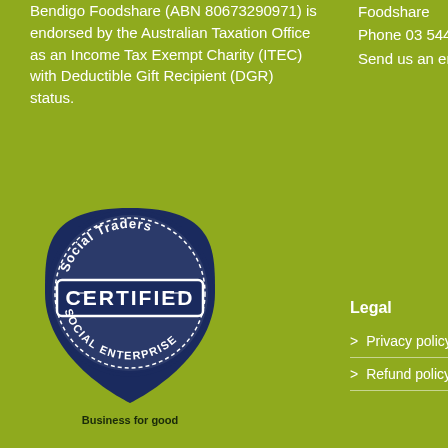Bendigo Foodshare (ABN 80673290971) is endorsed by the Australian Taxation Office as an Income Tax Exempt Charity (ITEC) with Deductible Gift Recipient (DGR) status.
Foodshare
Phone 03 5444 3409
Send us an email >
[Figure (logo): Social Traders Certified Social Enterprise badge - circular badge with shield shape, navy blue and white colors, text reading 'Social Traders CERTIFIED SOCIAL ENTERPRISE']
Business for good
Legal
> Privacy policy
> Refund policy